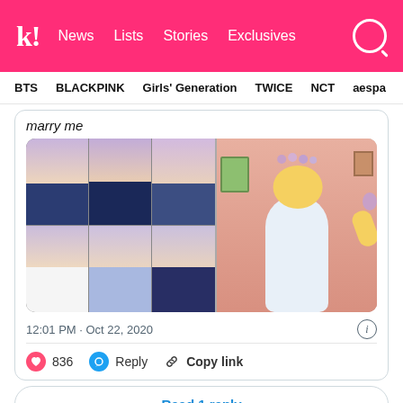k! News Lists Stories Exclusives
BTS  BLACKPINK  Girls' Generation  TWICE  NCT  aespa
marry me
[Figure (photo): Meme image combining a grid of 6 BTS members in formal wear on a purple background (left) with a cartoon image of Homer Simpson wearing a wedding dress and flower crown (right)]
12:01 PM · Oct 22, 2020
836  Reply  Copy link
Read 1 reply